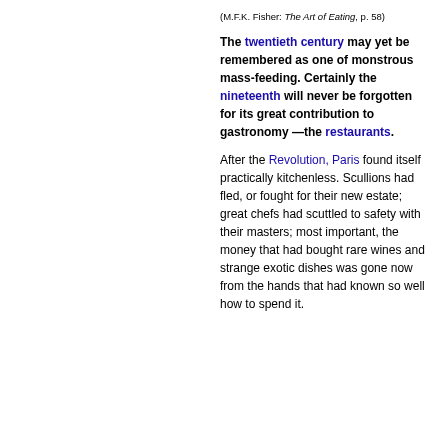(M.F.K. Fisher: The Art of Eating, p. 58)
The twentieth century may yet be remembered as one of monstrous mass-feeding. Certainly the nineteenth will never be forgotten for its great contribution to gastronomy —the restaurants.
After the Revolution, Paris found itself practically kitchenless. Scullions had fled, or fought for their new estate; great chefs had scuttled to safety with their masters; most important, the money that had bought rare wines and strange exotic dishes was gone now from the hands that had known so well how to spend it.